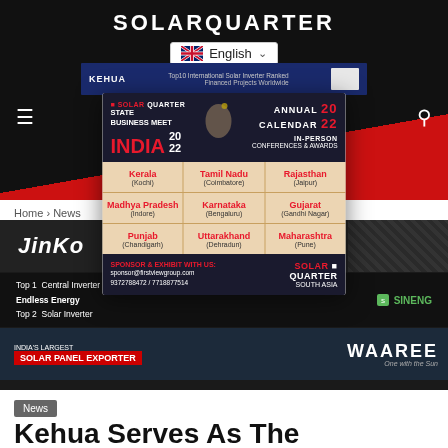SOLARQUARTER
[Figure (screenshot): SolarQuarter State Business Meet India 2022 annual calendar popup overlay showing 9 state locations: Kerala (Kochi), Tamil Nadu (Coimbatore), Rajasthan (Jaipur), Madhya Pradesh (Indore), Karnataka (Bengaluru), Gujarat (Gandhi Nagar), Punjab (Chandigarh), Uttarakhand (Dehradun), Maharashtra (Pune). Sponsor contact: sponsor@firstviewgroup.com, 9372788472/7718877514]
Home › News
[Figure (screenshot): JinKo solar brand advertisement banner]
[Figure (screenshot): Top 1 Central Inverter Endless Energy, Top 2 Solar Inverter - SINENG advertisement]
[Figure (screenshot): India's Largest Solar Panel Exporter - WAAREE advertisement]
News
Kehua Serves As The Technoking In PV+ESS Field